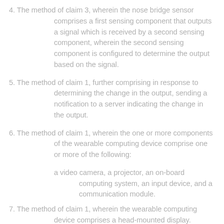4. The method of claim 3, wherein the nose bridge sensor comprises a first sensing component that outputs a signal which is received by a second sensing component, wherein the second sensing component is configured to determine the output based on the signal.
5. The method of claim 1, further comprising in response to determining the change in the output, sending a notification to a server indicating the change in the output.
6. The method of claim 1, wherein the one or more components of the wearable computing device comprise one or more of the following:
a video camera, a projector, an on-board computing system, an input device, and a communication module.
7. The method of claim 1, wherein the wearable computing device comprises a head-mounted display.
8. The method of claim 1, further comprising:
determining a subsequent change in the output from the nose bridge sensor;